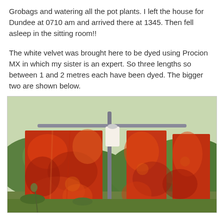Grobags and watering all the pot plants. I left the house for Dundee at 0710 am and arrived there at 1345. Then fell asleep in the sitting room!!
The white velvet was brought here to be dyed using Procion MX in which my sister is an expert. So three lengths so between 1 and 2 metres each have been dyed. The bigger two are shown below.
[Figure (photo): Two large pieces of red and orange tie-dyed velvet fabric hanging on a rotary washing line outdoors, with green garden vegetation in the background.]